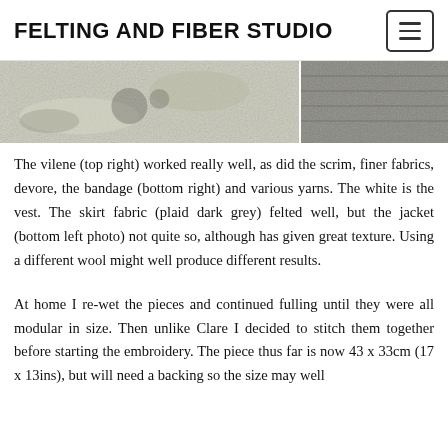FELTING AND FIBER STUDIO
[Figure (photo): Two photos of felted fabric samples arranged side by side. Left photo shows a large piece of textured felted material in light grey/white tones with dark accents. Right photo shows a close-up of a darker grey felted/knitted texture.]
The vilene (top right) worked really well, as did the scrim, finer fabrics, devore, the bandage (bottom right) and various yarns. The white is the vest. The skirt fabric (plaid dark grey) felted well, but the jacket (bottom left photo) not quite so, although has given great texture. Using a different wool might well produce different results.
At home I re-wet the pieces and continued fulling until they were all modular in size. Then unlike Clare I decided to stitch them together before starting the embroidery. The piece thus far is now 43 x 33cm (17 x 13ins), but will need a backing so the size may well